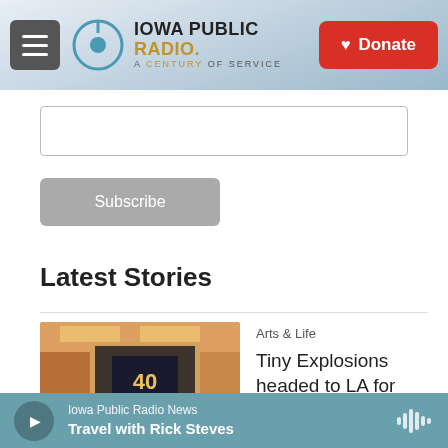Iowa Public Radio. A Century of Service | Donate
Subscribe
Latest Stories
[Figure (photo): Interior of a theater or screening room with warm lighting and a projected screen showing '40' logo, audience seated in rows]
Arts & Life
Tiny Explosions headed to LA for Filmpalooza 2023
Iowa Public Radio News — Travel with Rick Steves